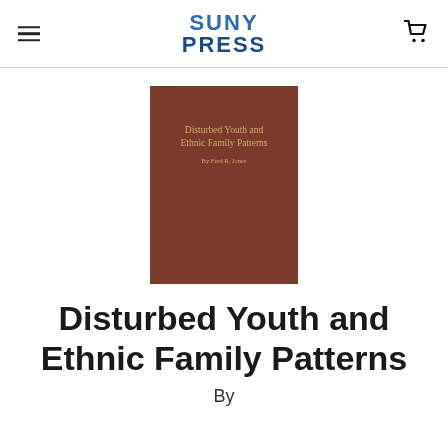SUNY PRESS
[Figure (photo): Book cover of 'Disturbed Youth and Ethnic Family Patterns' with brown cover and gold text]
Disturbed Youth and Ethnic Family Patterns
By